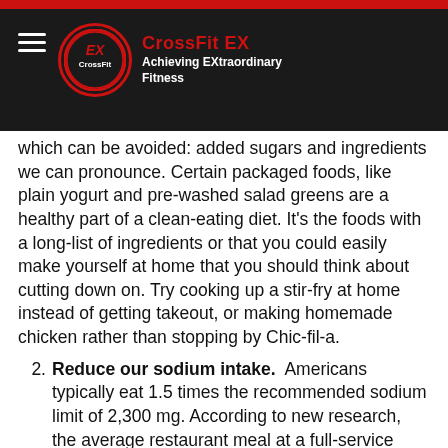CrossFit EX — Achieving EXtraordinary Fitness (logo/nav bar)
which can be avoided: added sugars and ingredients we can pronounce. Certain packaged foods, like plain yogurt and pre-washed salad greens are a healthy part of a clean-eating diet. It's the foods with a long-list of ingredients or that you could easily make yourself at home that you should think about cutting down on. Try cooking up a stir-fry at home instead of getting takeout, or making homemade chicken rather than stopping by Chic-fil-a.
Reduce our sodium intake.  Americans typically eat 1.5 times the recommended sodium limit of 2,300 mg. According to new research, the average restaurant meal at a full-service restaurant delivered more than 3,500 mg of sodium (yikes!). That's why cooking healthier meals at home is key to limiting your salt intake. You can boost flavor without reaching for the salt shaker (or at least use